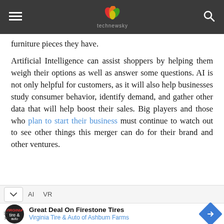technewsky
furniture pieces they have.
Artificial Intelligence can assist shoppers by helping them weigh their options as well as answer some questions. AI is not only helpful for customers, as it will also help businesses study consumer behavior, identify demand, and gather other data that will help boost their sales. Big players and those who plan to start their business must continue to watch out to see other things this merger can do for their brand and other ventures.
AI   VR
Great Deal On Firestone Tires Virginia Tire & Auto of Ashburn Farms